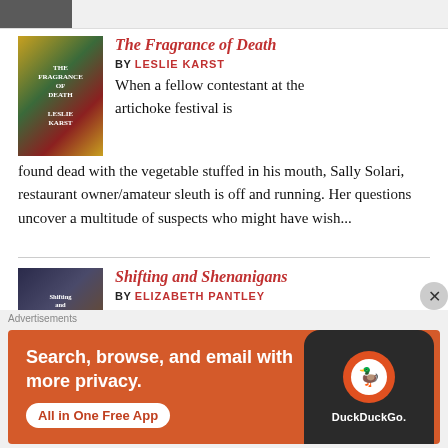[Figure (photo): Partial book cover thumbnail at top]
The Fragrance of Death
BY LESLIE KARST
When a fellow contestant at the artichoke festival is found dead with the vegetable stuffed in his mouth, Sally Solari, restaurant owner/amateur sleuth is off and running. Her questions uncover a multitude of suspects who might have wish...
Shifting and Shenanigans
BY ELIZABETH PANTLEY
What avid reader hasn't dreamed of actually visiting the people and places in the books they read? I often end my reviews with a jaunty "this is a town (or people) I would like to visit
[Figure (infographic): DuckDuckGo advertisement banner: Search, browse, and email with more privacy. All in One Free App. Shows phone with DuckDuckGo logo.]